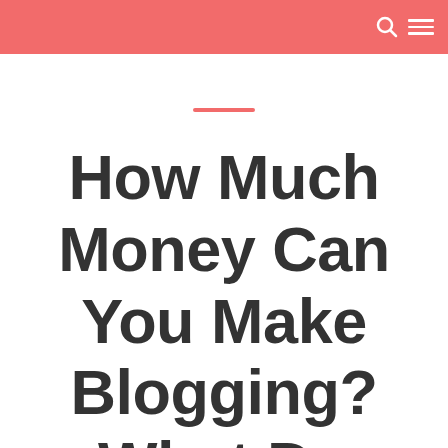How Much Money Can You Make Blogging? What Do